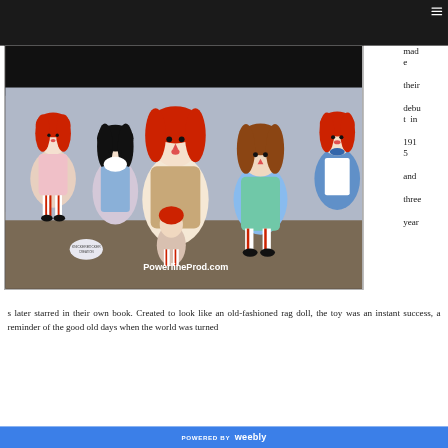[Figure (photo): Collection of Raggedy Ann and Andy dolls photographed together, with red yarn hair and classic rag doll features. Watermark reads PowerlineProd.com]
And you made their debut in 1915 and three years later starred in their own book. Created to look like an old-fashioned rag doll, the toy was an instant success, a reminder of the good old days when the world was turned
POWERED BY weebly